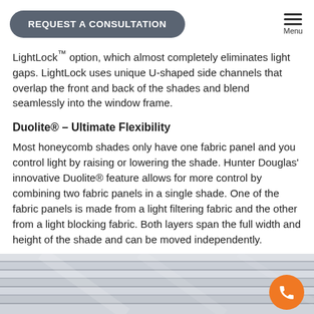REQUEST A CONSULTATION | Menu
LightLock™ option, which almost completely eliminates light gaps. LightLock uses unique U-shaped side channels that overlap the front and back of the shades and blend seamlessly into the window frame.
Duolite® – Ultimate Flexibility
Most honeycomb shades only have one fabric panel and you control light by raising or lowering the shade. Hunter Douglas' innovative Duolite® feature allows for more control by combining two fabric panels in a single shade. One of the fabric panels is made from a light filtering fabric and the other from a light blocking fabric. Both layers span the full width and height of the shade and can be moved independently.
[Figure (photo): Close-up photo of honeycomb/cellular window shades showing horizontal rows of white/grey pleated fabric panels]